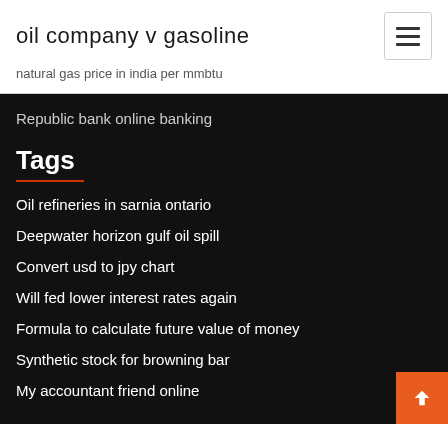oil company v gasoline
natural gas price in india per mmbtu
Republic bank online banking
Tags
Oil refineries in sarnia ontario
Deepwater horizon gulf oil spill
Convert usd to jpy chart
Will fed lower interest rates again
Formula to calculate future value of money
Synthetic stock for browning bar
My accountant friend online